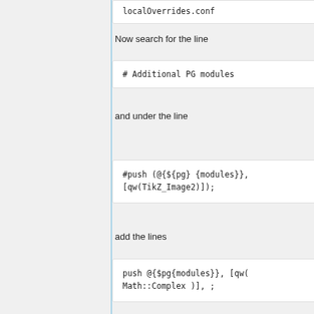localOverrides.conf
Now search for the line
# Additional PG modules
and under the line
#push (@{${pg}
{modules}},
[qw(TikZ_Image2)]);
add the lines
push @{$pg{modules}},
[qw( Math::Complex )],
;